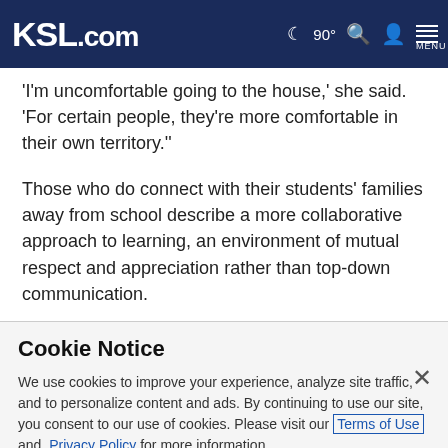KSL.com | 90° [moon icon] [search icon] [account icon] MENU
'I'm uncomfortable going to the house,' she said. 'For certain people, they're more comfortable in their own territory.'
Those who do connect with their students' families away from school describe a more collaborative approach to learning, an environment of mutual respect and appreciation rather than top-down communication.
Cookie Notice
We use cookies to improve your experience, analyze site traffic, and to personalize content and ads. By continuing to use our site, you consent to our use of cookies. Please visit our Terms of Use and Privacy Policy for more information.